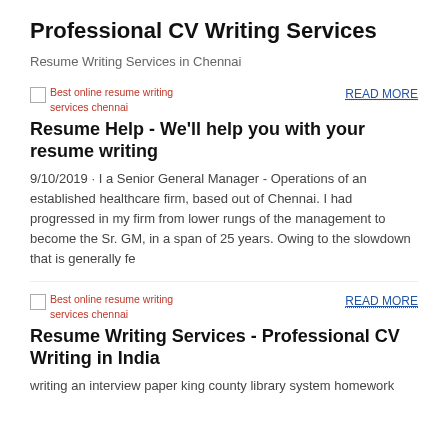Professional CV Writing Services
Resume Writing Services in Chennai
[Figure (photo): Broken image placeholder: Best online resume writing services chennai]
READ MORE
Resume Help - We'll help you with your resume writing
9/10/2019 · I a Senior General Manager - Operations of an established healthcare firm, based out of Chennai. I had progressed in my firm from lower rungs of the management to become the Sr. GM, in a span of 25 years. Owing to the slowdown that is generally fe
[Figure (photo): Broken image placeholder: Best online resume writing services chennai]
READ MORE
Resume Writing Services - Professional CV Writing in India
writing an interview paper king county library system homework